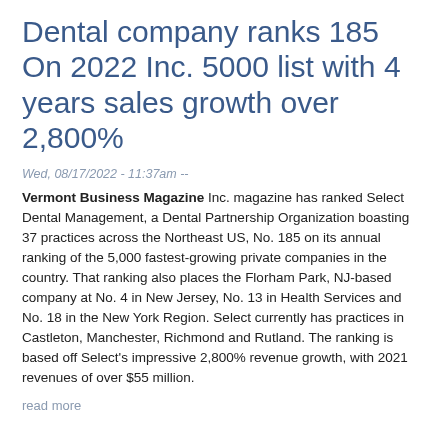Dental company ranks 185 On 2022 Inc. 5000 list with 4 years sales growth over 2,800%
Wed, 08/17/2022 - 11:37am --
Vermont Business Magazine Inc. magazine has ranked Select Dental Management, a Dental Partnership Organization boasting 37 practices across the Northeast US, No. 185 on its annual ranking of the 5,000 fastest-growing private companies in the country. That ranking also places the Florham Park, NJ-based company at No. 4 in New Jersey, No. 13 in Health Services and No. 18 in the New York Region. Select currently has practices in Castleton, Manchester, Richmond and Rutland. The ranking is based off Select's impressive 2,800% revenue growth, with 2021 revenues of over $55 million.
read more